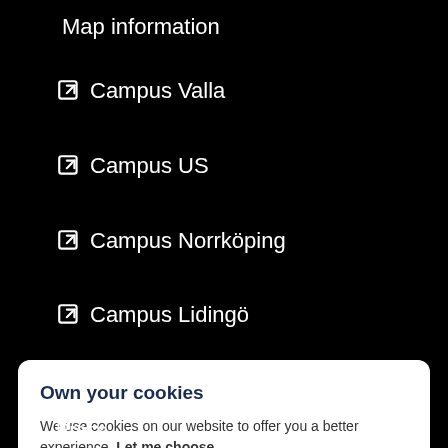Map information
↗ Campus Valla
↗ Campus US
↗ Campus Norrköping
↗ Campus Lidingö
Own your cookies
We use cookies on our website to offer you a better experience. Let me choose
I accept default
Only necessary
Press